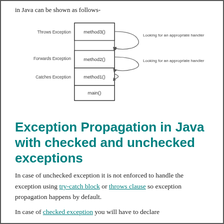in Java can be shown as follows-
[Figure (schematic): Call stack diagram showing method3(), method2(), method1(), and main() stacked in a box. Throws Exception label points to method3, Forwards Exception label points to method2, Catches Exception label points to method1. Arrows on the right show 'Looking for an appropriate handler' for method3 and method2.]
Exception Propagation in Java with checked and unchecked exceptions
In case of unchecked exception it is not enforced to handle the exception using try-catch block or throws clause so exception propagation happens by default.
In case of checked exception you will have to declare